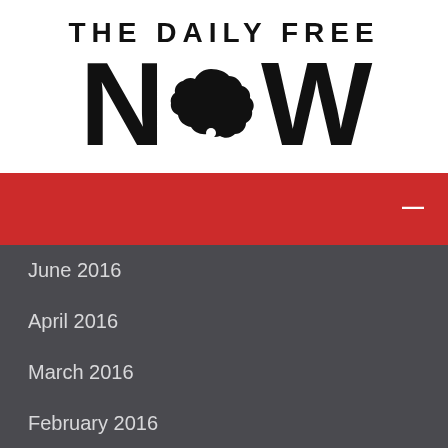[Figure (logo): The Daily Free Now logo — bold black text 'THE DAILY FREE' above large 'N.W' letters with a cloud/smoke shape replacing the 'O', on white background]
[Figure (other): Red horizontal banner bar with a white dash/minus symbol on the right side]
June 2016
April 2016
March 2016
February 2016
January 2016
December 2015